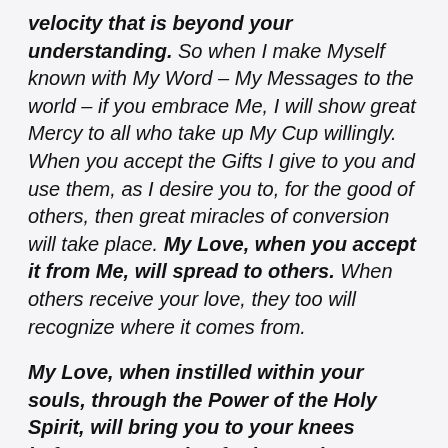velocity that is beyond your understanding. So when I make Myself known with My Word – My Messages to the world – if you embrace Me, I will show great Mercy to all who take up My Cup willingly. When you accept the Gifts I give to you and use them, as I desire you to, for the good of others, then great miracles of conversion will take place. My Love, when you accept it from Me, will spread to others. When others receive your love, they too will recognize where it comes from.
My Love, when instilled within your souls, through the Power of the Holy Spirit, will bring you to your knees before Me, weeping for joy. Make no mistake; you will recognize the Love of God